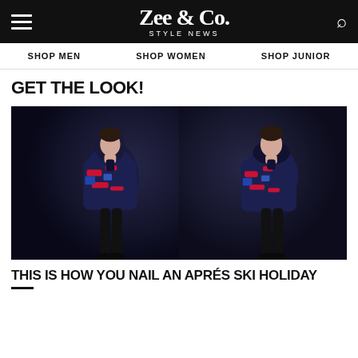Zee & Co. STYLE NEWS
SHOP MEN   SHOP WOMEN   SHOP JUNIOR
GET THE LOOK!
[Figure (photo): Two side-by-side fashion photos of a young male model wearing a dark patterned puffer jacket with red graphic print details, standing against a dark grey background.]
THIS IS HOW YOU NAIL AN APRÉS SKI HOLIDAY